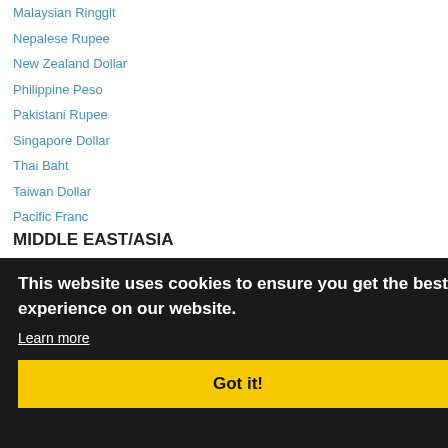Malaysian Ringgit
Nepalese Rupee
New Zealand Dollar
Philippine Peso
Pakistani Rupee
Singapore Dollar
Thai Baht
Taiwan Dollar
Pacific Franc
MIDDLE EAST/ASIA
United Arab Emirates Dirham
This website uses cookies to ensure you get the best experience on our website. Learn more Got it!
Yemen Riyal